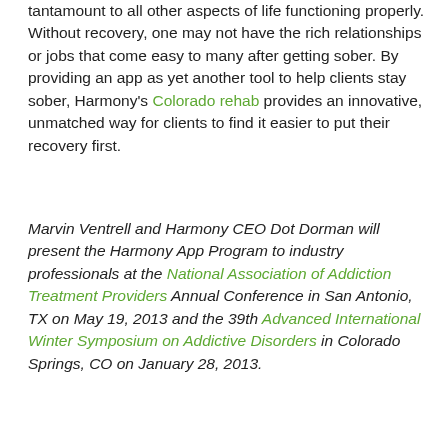tantamount to all other aspects of life functioning properly. Without recovery, one may not have the rich relationships or jobs that come easy to many after getting sober. By providing an app as yet another tool to help clients stay sober, Harmony's Colorado rehab provides an innovative, unmatched way for clients to find it easier to put their recovery first.
Marvin Ventrell and Harmony CEO Dot Dorman will present the Harmony App Program to industry professionals at the National Association of Addiction Treatment Providers Annual Conference in San Antonio, TX on May 19, 2013 and the 39th Advanced International Winter Symposium on Addictive Disorders in Colorado Springs, CO on January 28, 2013.